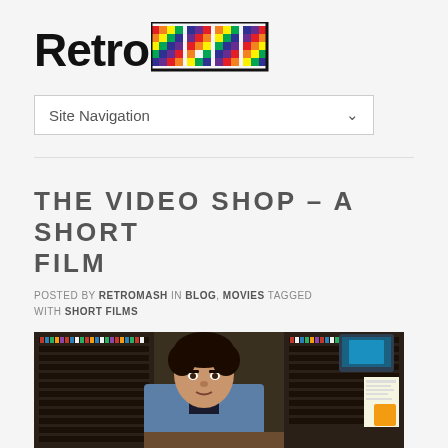[Figure (logo): RetroMASH logo — 'Retro' in bold black sans-serif and 'MASH' in multicolored pixel/block lettering]
Site Navigation
[Figure (photo): A young man with curly dark hair in a denim jacket, leaning on a counter in a video rental shop filled with shelves of VHS tapes. A small TV monitor is visible in the background upper right.]
THE VIDEO SHOP – A SHORT FILM
POSTED BY RETROMASH IN BLOG, MOVIES TAGGED WITH SHORT FILMS